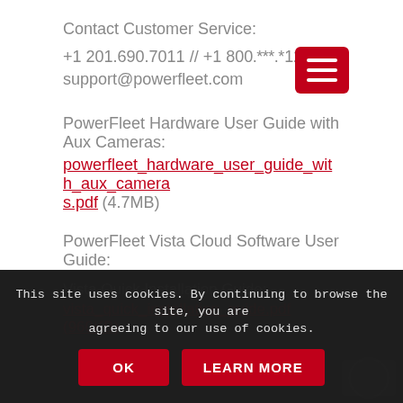Contact Customer Service:
+1 201.690.7011 // +1 800.***.*123
support@powerfleet.com
PowerFleet Hardware User Guide with Aux Cameras: powerfleet_hardware_user_guide_with_aux_cameras.pdf (4.7MB)
PowerFleet Vista Cloud Software User Guide: powerfleet_vista_cloud_software_user_guide.pdf (4.8MB)
Vista Quick Installation Guide: vista_quick_installation_guide.pdf (960KB)
This site uses cookies. By continuing to browse the site, you are agreeing to our use of cookies.